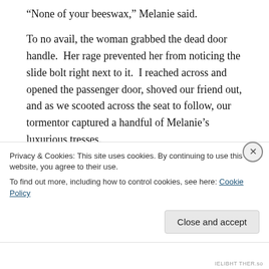“None of your beeswax,” Melanie said.
To no avail, the woman grabbed the dead door handle.  Her rage prevented her from noticing the slide bolt right next to it.  I reached across and opened the passenger door, shoved our friend out, and as we scooted across the seat to follow, our tormentor captured a handful of Melanie’s luxurious tresses.
“Steph, she’s got me!”  Turning back, I gave the woman’s wrist a quick karate chop, she let go, we
Privacy & Cookies: This site uses cookies. By continuing to use this website, you agree to their use.
To find out more, including how to control cookies, see here: Cookie Policy
Close and accept